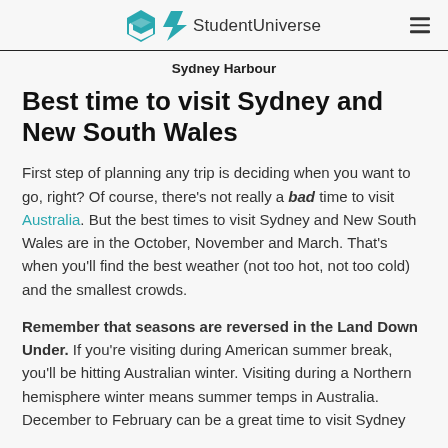StudentUniverse
Sydney Harbour
Best time to visit Sydney and New South Wales
First step of planning any trip is deciding when you want to go, right? Of course, there's not really a bad time to visit Australia. But the best times to visit Sydney and New South Wales are in the October, November and March. That's when you'll find the best weather (not too hot, not too cold) and the smallest crowds.
Remember that seasons are reversed in the Land Down Under. If you're visiting during American summer break, you'll be hitting Australian winter. Visiting during a Northern hemisphere winter means summer temps in Australia. December to February can be a great time to visit Sydney